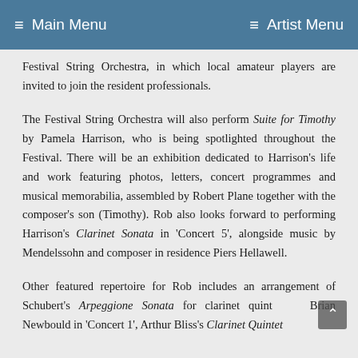≡ Main Menu   ≡ Artist Menu
Festival String Orchestra, in which local amateur players are invited to join the resident professionals.
The Festival String Orchestra will also perform Suite for Timothy by Pamela Harrison, who is being spotlighted throughout the Festival. There will be an exhibition dedicated to Harrison's life and work featuring photos, letters, concert programmes and musical memorabilia, assembled by Robert Plane together with the composer's son (Timothy). Rob also looks forward to performing Harrison's Clarinet Sonata in 'Concert 5', alongside music by Mendelssohn and composer in residence Piers Hellawell.
Other featured repertoire for Rob includes an arrangement of Schubert's Arpeggione Sonata for clarinet quintet by Brian Newbould in 'Concert 1', Arthur Bliss's Clarinet Quintet in 'Concert 4', and Walter Pohl's Quartet for clarinet, violin